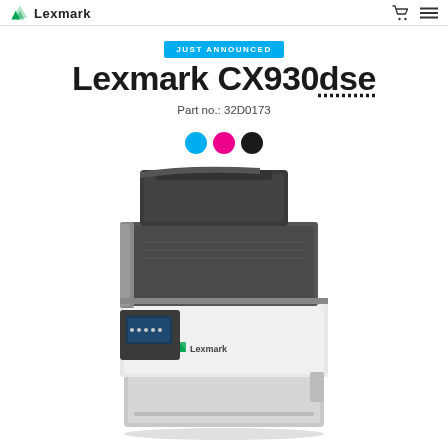Lexmark
JUST ANNOUNCED
Lexmark CX930dse
Part no.: 32D0173
[Figure (illustration): Three color dots: cyan, magenta, black representing toner colors]
[Figure (photo): Lexmark CX930dse color laser printer/MFP product photo showing a large floor-standing device with dark gray top section, white lower body with Lexmark logo, and paper tray at bottom]